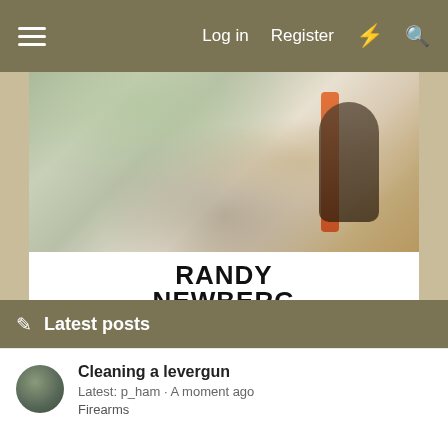Log in  Register
[Figure (illustration): Randy Newberg Hunter YouTube advertisement banner. Top portion shows a hunter in camouflage gear with an orange pack. Below is white background with 'RANDY NEWBERG HUNTER' in bold black text with a horizontal rule, followed by the YouTube logo, then 'NEW VIDEOS EVERY WEEKDAY' in bold black uppercase text.]
Latest posts
Cleaning a levergun
Latest: p_ham · A moment ago
Firearms